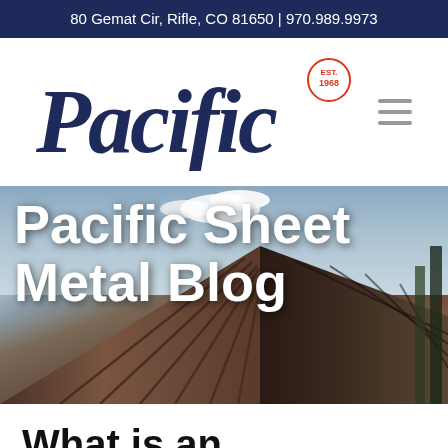80 Gemat Cir, Rifle, CO 81650 | 970.989.9973
[Figure (logo): Pacific Sheet Metal company logo in dark navy italic script font, with a circular 'EST. 1968' badge in red outline, and a hamburger menu icon on the right]
[Figure (photo): Hero image of a metal standing seam roof with triangular peak against a blue sky with clouds and trees, with bold white text overlay reading 'Pacific Sheet Metal Blog']
What is an